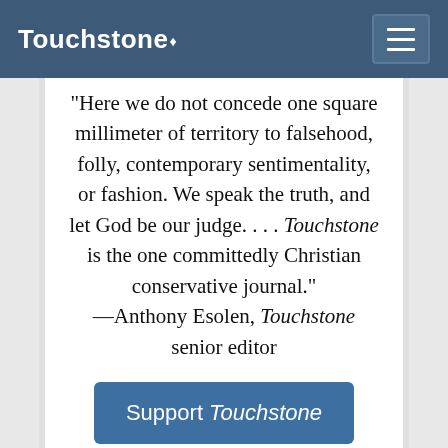Touchstone
"Here we do not concede one square millimeter of territory to falsehood, folly, contemporary sentimentality, or fashion. We speak the truth, and let God be our judge. . . . Touchstone is the one committedly Christian conservative journal." —Anthony Esolen, Touchstone senior editor
Support Touchstone